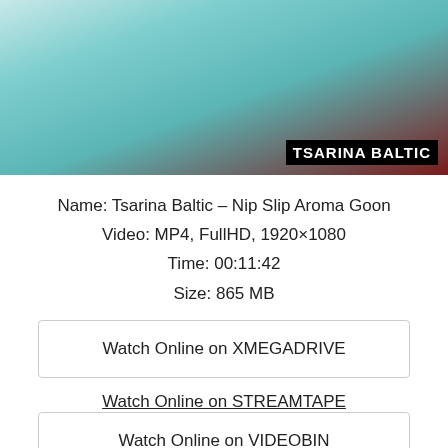[Figure (photo): Thumbnail image with watermark text TSARINA BALTIC in bottom right corner]
Name: Tsarina Baltic – Nip Slip Aroma Goon
Video: MP4, FullHD, 1920×1080
Time: 00:11:42
Size: 865 MB
Watch Online on XMEGADRIVE
Watch Online on STREAMTAPE
Watch Online on VIDEOBIN
Watch Online on EVOLOAD